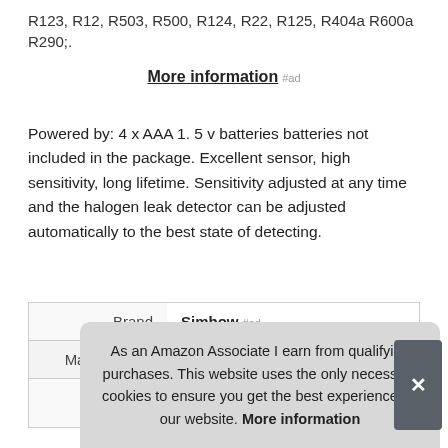R123, R12, R503, R500, R124, R22, R125, R404a R600a R290;.
More information #ad
Powered by: 4 x AAA 1. 5 v batteries batteries not included in the package. Excellent sensor, high sensitivity, long lifetime. Sensitivity adjusted at any time and the halogen leak detector can be adjusted automatically to the best state of detecting.
| Brand | Simbow #ad |
| Manufacturer | Simbow #ad |
|  |  |
As an Amazon Associate I earn from qualifying purchases. This website uses the only necessary cookies to ensure you get the best experience on our website. More information